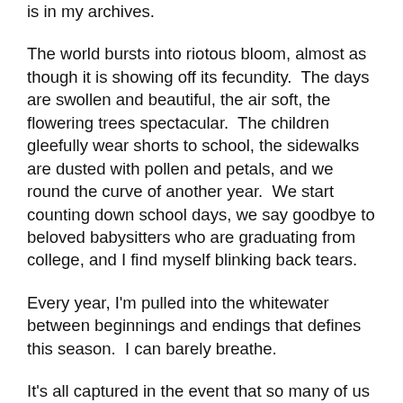is in my archives.
The world bursts into riotous bloom, almost as though it is showing off its fecundity.  The days are swollen and beautiful, the air soft, the flowering trees spectacular.  The children gleefully wear shorts to school, the sidewalks are dusted with pollen and petals, and we round the curve of another year.  We start counting down school days, we say goodbye to beloved babysitters who are graduating from college, and I find myself blinking back tears.
Every year, I'm pulled into the whitewater between beginnings and endings that defines this season.  I can barely breathe.
It's all captured in the event that so many of us